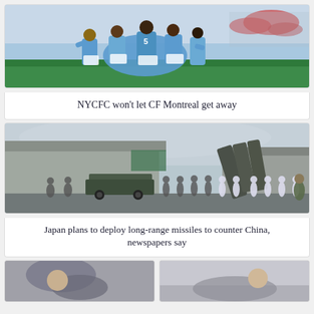[Figure (photo): Soccer players in blue NYCFC jerseys celebrating on the field, with crowds in background]
NYCFC won't let CF Montreal get away
[Figure (photo): Military personnel standing near missile launcher trucks outside a hangar building]
Japan plans to deploy long-range missiles to counter China, newspapers say
[Figure (photo): Two partial news article thumbnail images at the bottom of the page]